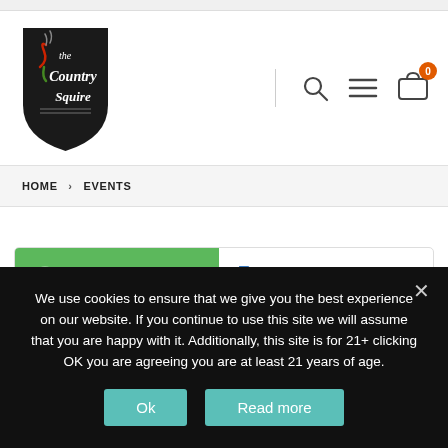[Figure (logo): The Country Squire logo — black shield with cursive white text and red/green accents]
HOME > EVENTS
Categories   Tags
We use cookies to ensure that we give you the best experience on our website. If you continue to use this site we will assume that you are happy with it. Additionally, this site is for 21+ clicking OK you are agreeing you are at least 21 years of age.
Ok   Read more